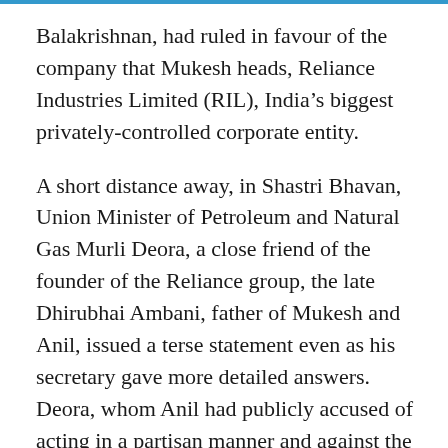Balakrishnan, had ruled in favour of the company that Mukesh heads, Reliance Industries Limited (RIL), India's biggest privately-controlled corporate entity.
A short distance away, in Shastri Bhavan, Union Minister of Petroleum and Natural Gas Murli Deora, a close friend of the founder of the Reliance group, the late Dhirubhai Ambani, father of Mukesh and Anil, issued a terse statement even as his secretary gave more detailed answers. Deora, whom Anil had publicly accused of acting in a partisan manner and against the national interest in a series of newspaper front-page advertisements issued by his Reliance Natural Resources Limited (RNRL),